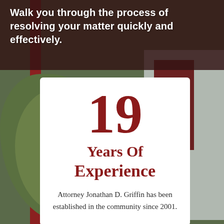Walk you through the process of resolving your matter quickly and effectively.
19
Years Of Experience
Attorney Jonathan D. Griffin has been established in the community since 2001.